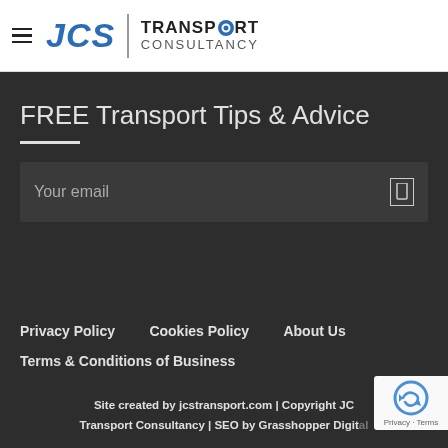[Figure (logo): JCS Transport Consultancy logo with hamburger menu icon on left]
FREE Transport Tips & Advice
[Figure (other): Email input field with placeholder text 'Your email' and a submit icon on the right]
Privacy Policy
Cookies Policy
About Us
Terms & Conditions of Business
Site created by jcstransport.com | Copyright JCS Transport Consultancy | SEO by Grasshopper Digital